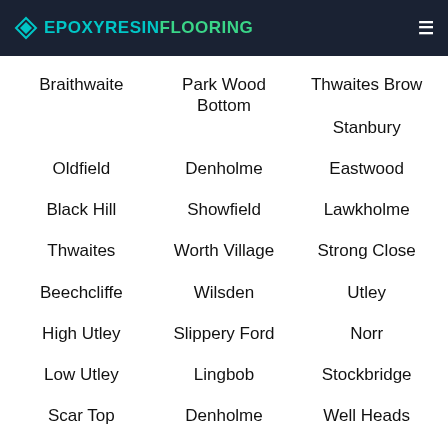EPOXY RESIN FLOORING
Braithwaite
Park Wood Bottom
Thwaites Brow
Stanbury
Oldfield
Denholme
Eastwood
Black Hill
Showfield
Lawkholme
Thwaites
Worth Village
Strong Close
Beechcliffe
Wilsden
Utley
High Utley
Slippery Ford
Norr
Low Utley
Lingbob
Stockbridge
Scar Top
Denholme
Well Heads